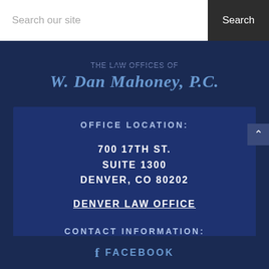Search our site | Search
The Law Offices of W. Dan Mahoney, P.C.
OFFICE LOCATION:
700 17TH ST.
SUITE 1300
DENVER, CO 80202
DENVER LAW OFFICE
CONTACT INFORMATION:
PHONE: 303-225-7396
FAX: 303-407-2400
FACEBOOK